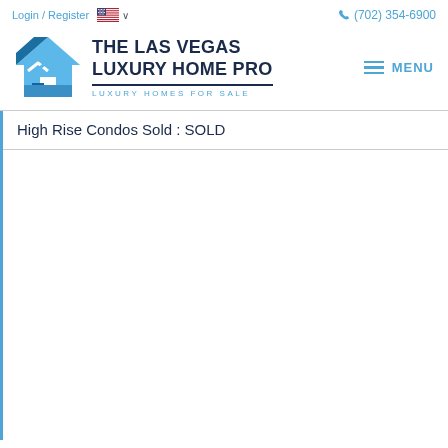Login / Register   🇺🇸 ∨   (702) 354-6900
[Figure (logo): The Las Vegas Luxury Home Pro logo — blue house/arrow icon with bold dark navy text 'THE LAS VEGAS LUXURY HOME PRO' and subtitle 'LUXURY HOMES FOR SALE']
High Rise Condos Sold : SOLD